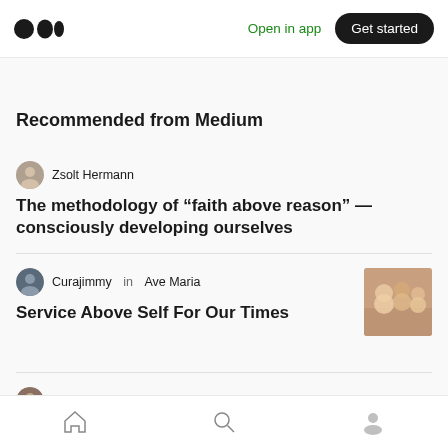Open in app | Get started
Recommended from Medium
Zsolt Hermann
The methodology of “faith above reason” — consciously developing ourselves
Curajimmy in Ave Maria
Service Above Self For Our Times
[Figure (photo): Thumbnail image of children]
Ethan Levy
[Figure (photo): Thumbnail image partially visible at bottom]
Home | Search | Profile